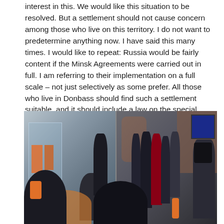interest in this. We would like this situation to be resolved. But a settlement should not cause concern among those who live on this territory. I do not want to predetermine anything now. I have said this many times. I would like to repeat: Russia would be fairly content if the Minsk Agreements were carried out in full. I am referring to their implementation on a full scale – not just selectively as some prefer. All those who live in Donbass should find such a settlement suitable, and it should include a law on the special status of Donbass. This is the second point.
[Figure (photo): Photo showing a press conference or media event in a studio. Left half shows a glass-walled office area with orange posters. Right half shows a group of people including suited figures (one appears to be Vladimir Putin) standing in a darker studio environment with a brick wall backdrop, a TV screen visible in upper right, camera operators on the right, and journalists with orange microphones in the foreground.]